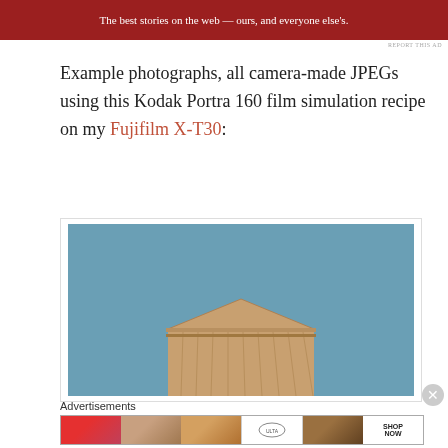[Figure (other): Red banner advertisement with white text: 'The best stories on the web — ours, and everyone else's.']
REPORT THIS AD
Example photographs, all camera-made JPEGs using this Kodak Portra 160 film simulation recipe on my Fujifilm X-T30:
[Figure (photo): Photograph of building roofline corner with wooden eaves against a blue sky, taken with Fujifilm X-T30 using Kodak Portra 160 film simulation]
Advertisements
[Figure (other): Ulta Beauty advertisement strip showing beauty products, makeup, eyes, Ulta logo, and SHOP NOW text]
REPORT THIS AD